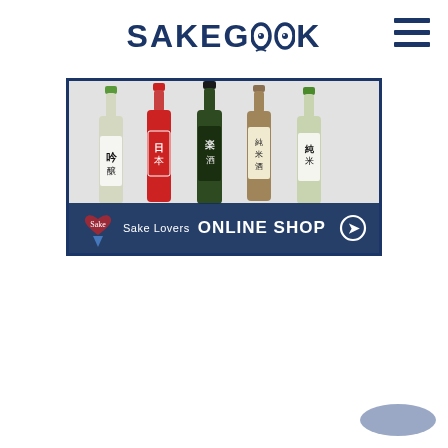SAKEGEEK
[Figure (photo): Banner advertisement showing five Japanese sake bottles (green, red, dark green, brown, green) with Japanese text labels, above a dark blue bar reading 'Sake Lovers ONLINE SHOP' with an arrow button]
[Figure (other): Blue/grey oval button in the bottom right corner of the page]